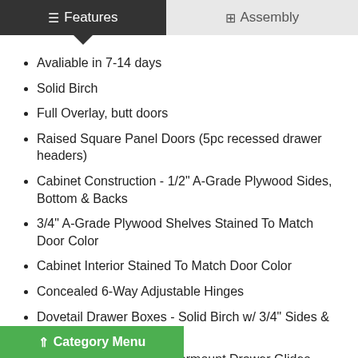Features | Assembly
Avaliable in 7-14 days
Solid Birch
Full Overlay, butt doors
Raised Square Panel Doors (5pc recessed drawer headers)
Cabinet Construction - 1/2" A-Grade Plywood Sides, Bottom & Backs
3/4" A-Grade Plywood Shelves Stained To Match Door Color
Cabinet Interior Stained To Match Door Color
Concealed 6-Way Adjustable Hinges
Dovetail Drawer Boxes - Solid Birch w/ 3/4" Sides & 1/2" Bottoms
Epoxy Coated Metal Undermount Drawer Glides
xtension Soft Closing
Category Menu